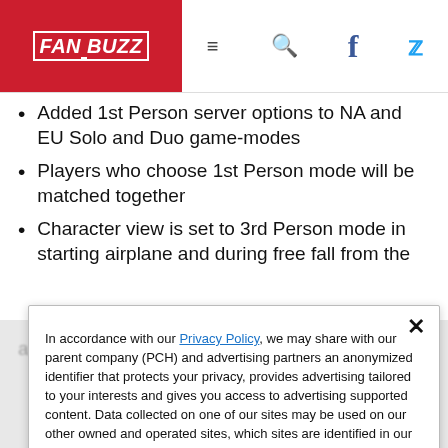FANBUZZ
Added 1st Person server options to NA and EU Solo and Duo game-modes
Players who choose 1st Person mode will be matched together
Character view is set to 3rd Person mode in starting airplane and during free fall from the airplane. This will be set to 1st Person only in a
In accordance with our Privacy Policy, we may share with our parent company (PCH) and advertising partners an anonymized identifier that protects your privacy, provides advertising tailored to your interests and gives you access to advertising supported content. Data collected on one of our sites may be used on our other owned and operated sites, which sites are identified in our Privacy Policy. All of our sites are governed by the same Privacy Policy, and by proceeding to access this site, you are consenting to that Privacy Policy.